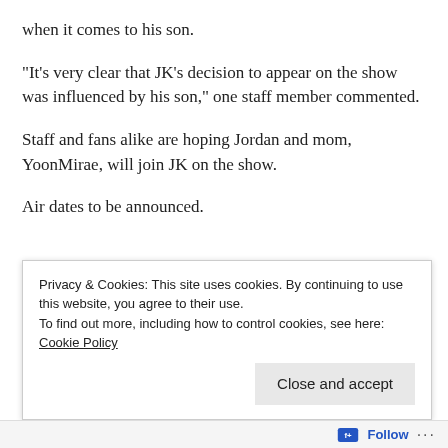when it comes to his son.
“It’s very clear that JK’s decision to appear on the show was influenced by his son,” one staff member commented.
Staff and fans alike are hoping Jordan and mom, YoonMirae, will join JK on the show.
Air dates to be announced.
[Figure (other): Partially visible advertisement banner with bold text reading 'Where Neural Tools Works Best' and a blue SEE PRICING button]
Privacy & Cookies: This site uses cookies. By continuing to use this website, you agree to their use.
To find out more, including how to control cookies, see here: Cookie Policy
Close and accept
Follow